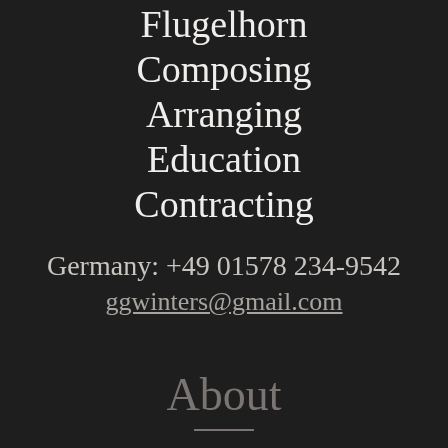Flugelhorn
Composing
Arranging
Education
Contracting
Germany: +49 01578 234-9542
ggwinters@gmail.com
About